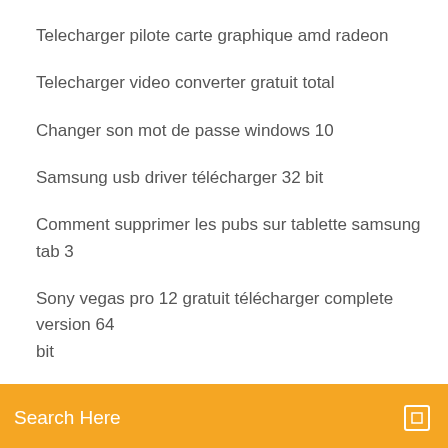Telecharger pilote carte graphique amd radeon
Telecharger video converter gratuit total
Changer son mot de passe windows 10
Samsung usb driver télécharger 32 bit
Comment supprimer les pubs sur tablette samsung tab 3
Sony vegas pro 12 gratuit télécharger complete version 64 bit
[Figure (screenshot): Orange search bar with text 'Search Here' and a small icon on the right]
Tutoriel lecteur windows media player 12
Cara crack minecraft windows 10 edition
Call of duty black ops 2 mission 2
Free logo maker app gratuit télécharger
Adobe flash player free
Jeu des différences en ligne
Start menu windows 10 fix
Ac3 codec windows 7 64 bit télécharger
Bat to exe converter windows 10
Call of duty black ops 3 multiplayer maps